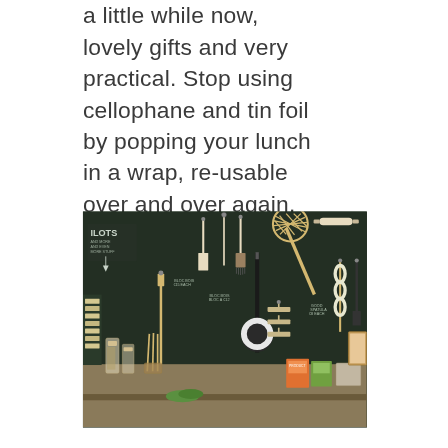a little while now, lovely gifts and very practical. Stop using cellophane and tin foil by popping your lunch in a wrap, re-usable over and over again. Great for covering bowls in the fridge. Various designs and sizes available.
[Figure (photo): Interior shop display showing various kitchen tools and utensils mounted on a dark chalkboard wall. Items include spatulas, brushes, a lattice-topped pie server, rolling pins, and other cooking implements with handwritten labels. Below the wall display is a wooden table with jars, containers, and packaged goods.]